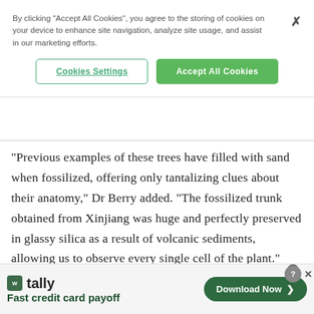By clicking "Accept All Cookies", you agree to the storing of cookies on your device to enhance site navigation, analyze site usage, and assist in our marketing efforts.
Cookies Settings | Accept All Cookies
“Previous examples of these trees have filled with sand when fossilized, offering only tantalizing clues about their anatomy,” Dr Berry added. "The fossilized trunk obtained from Xinjiang was huge and perfectly preserved in glassy silica as a result of volcanic sediments, allowing us to observe every single cell of the plant."
[Figure (screenshot): Advertisement banner for Tally app - Fast credit card payoff with Download Now button]